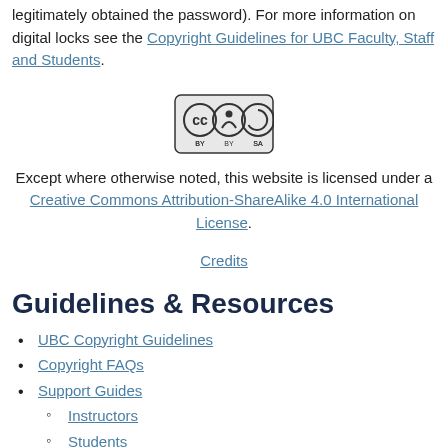legitimately obtained the password). For more information on digital locks see the Copyright Guidelines for UBC Faculty, Staff and Students.
[Figure (logo): Creative Commons BY-SA license badge icon]
Except where otherwise noted, this website is licensed under a Creative Commons Attribution-ShareAlike 4.0 International License.
Credits
Guidelines & Resources
UBC Copyright Guidelines
Copyright FAQs
Support Guides
Instructors
Students
Staff